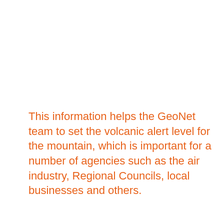This information helps the GeoNet team to set the volcanic alert level for the mountain, which is important for a number of agencies such as the air industry, Regional Councils, local businesses and others.
Because of the potential for some eruptions to occur with little or no warning, and the speed